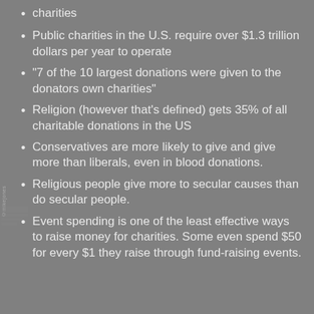charities
Public charities in the U.S. require over $1.3 trillion dollars per year to operate
"7 of the 10 largest donations were given to the donators own charities"
Religion (however that's defined) gets 35% of all charitable donations in the US
Conservatives are more likely to give and give more than liberals, even in blood donations.
Religious people give more to secular causes than do secular people.
Event spending is one of the least effective ways to raise money for charities. Some even spend $50 for every $1 they raise through fund-raising events.